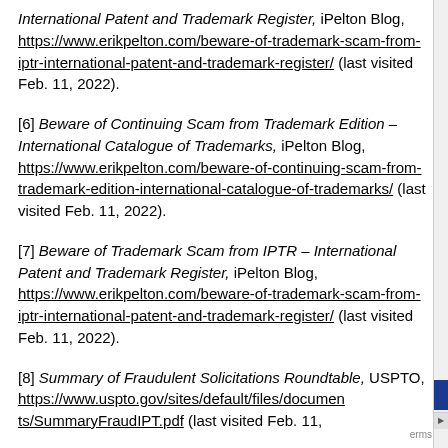International Patent and Trademark Register, iPelton Blog, https://www.erikpelton.com/beware-of-trademark-scam-from-iptr-international-patent-and-trademark-register/ (last visited Feb. 11, 2022).
[6] Beware of Continuing Scam from Trademark Edition – International Catalogue of Trademarks, iPelton Blog, https://www.erikpelton.com/beware-of-continuing-scam-from-trademark-edition-international-catalogue-of-trademarks/ (last visited Feb. 11, 2022).
[7] Beware of Trademark Scam from IPTR – International Patent and Trademark Register, iPelton Blog, https://www.erikpelton.com/beware-of-trademark-scam-from-iptr-international-patent-and-trademark-register/ (last visited Feb. 11, 2022).
[8] Summary of Fraudulent Solicitations Roundtable, USPTO, https://www.uspto.gov/sites/default/files/documents/SummaryFraudIPT.pdf (last visited Feb. 11,